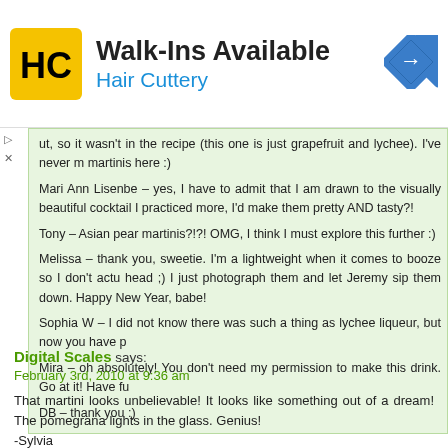[Figure (logo): Hair Cuttery advertisement banner with logo, 'Walk-Ins Available' heading, and directional arrow icon]
ut, so it wasn't in the recipe (this one is just grapefruit and lychee). I've never m martinis here :)

Mari Ann Lisenbe – yes, I have to admit that I am drawn to the visually beautiful cocktail I practiced more, I'd make them pretty AND tasty?!

Tony – Asian pear martinis?!?! OMG, I think I must explore this further :)

Melissa – thank you, sweetie. I'm a lightweight when it comes to booze so I don't actu head ;) I just photograph them and let Jeremy sip them down. Happy New Year, babe!

Sophia W – I did not know there was such a thing as lychee liqueur, but now you have p

Mira – oh absolutely! You don't need my permission to make this drink. Go at it! Have fu

DB – thank you :)
Digital Scales says:
February 3rd, 2010 at 9:36 am

That martini looks unbelievable! It looks like something out of a dream! The pomegrana lights in the glass. Genius!
-Sylvia